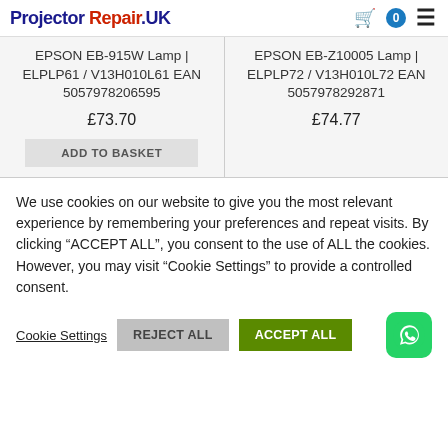Projector Repair.UK — header with cart (0) and hamburger menu
EPSON EB-915W Lamp | ELPLP61 / V13H010L61 EAN 5057978206595
£73.70
ADD TO BASKET
EPSON EB-Z10005 Lamp | ELPLP72 / V13H010L72 EAN 5057978292871
£74.77
We use cookies on our website to give you the most relevant experience by remembering your preferences and repeat visits. By clicking "ACCEPT ALL", you consent to the use of ALL the cookies. However, you may visit "Cookie Settings" to provide a controlled consent.
Cookie Settings  REJECT ALL  ACCEPT ALL